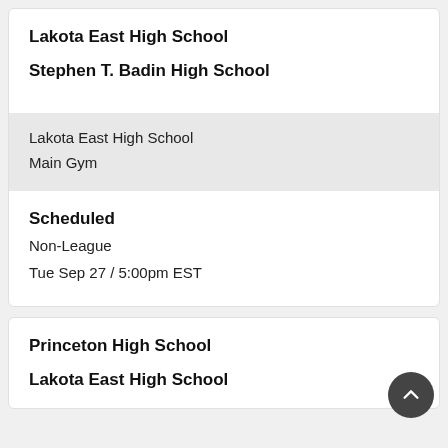Lakota East High School
Stephen T. Badin High School
Lakota East High School
Main Gym
Scheduled
Non-League
Tue Sep 27 / 5:00pm EST
Princeton High School
Lakota East High School